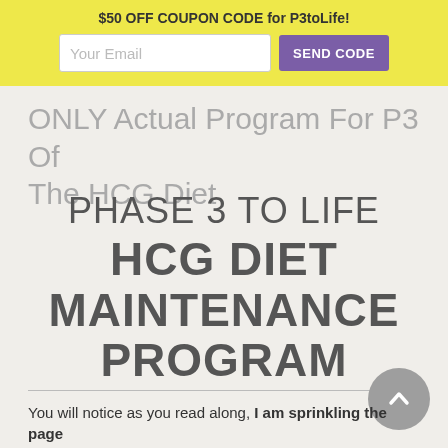$50 OFF COUPON CODE for P3toLife!
ONLY Actual Program For P3 Of The HCG Diet
PHASE 3 TO LIFE HCG DIET MAINTENANCE PROGRAM
You will notice as you read along, I am sprinkling the page